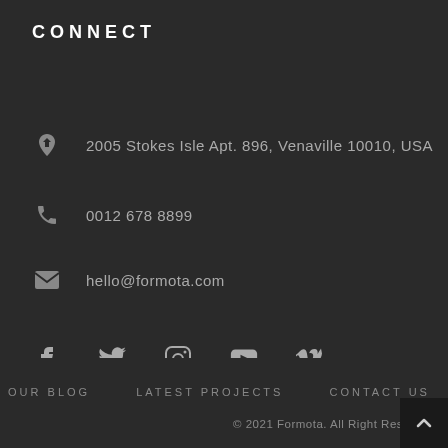CONNECT
2005 Stokes Isle Apt. 896, Venaville 10010, USA
0012 678 8899
hello@formota.com
[Figure (infographic): Social media icons: Facebook, Twitter, Instagram, YouTube, Vimeo]
INSTAGRAM
OUR BLOG   LATEST PROJECTS   CONTACT US
© 2021 Formota. All Right Reserved.